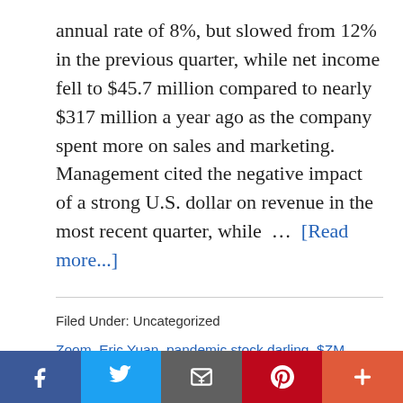annual rate of 8%, but slowed from 12% in the previous quarter, while net income fell to $45.7 million compared to nearly $317 million a year ago as the company spent more on sales and marketing. Management cited the negative impact of a strong U.S. dollar on revenue in the most recent quarter, while … [Read more...]
Filed Under: Uncategorized
Zoom, Eric Yuan, pandemic stock darling, $ZM stock, zoom earnings, zoom revenue growth, macro environment, Zoom billionaire, stock market, nasdaq,
[Figure (infographic): Social sharing bar at bottom with Facebook, Twitter, Email, Pinterest, and Plus buttons]